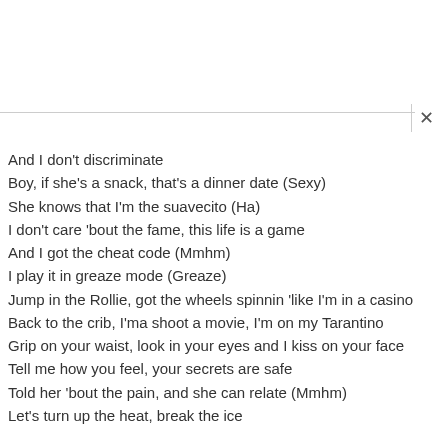And I don't discriminate
Boy, if she's a snack, that's a dinner date (Sexy)
She knows that I'm the suavecito (Ha)
I don't care 'bout the fame, this life is a game
And I got the cheat code (Mmhm)
I play it in greaze mode (Greaze)
Jump in the Rollie, got the wheels spinnin 'like I'm in a casino
Back to the crib, I'ma shoot a movie, I'm on my Tarantino
Grip on your waist, look in your eyes and I kiss on your face
Tell me how you feel, your secrets are safe
Told her 'bout the pain, and she can relate (Mmhm)
Let's turn up the heat, break the ice